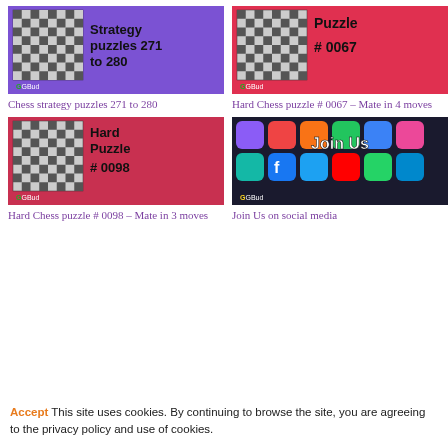[Figure (illustration): Chess strategy puzzles thumbnail - purple background with chess board and text 'Strategy puzzles 271 to 280', GGBud logo]
[Figure (illustration): Hard Chess puzzle #0067 thumbnail - red background with chess board and text 'Puzzle # 0067', GGBud logo]
Chess strategy puzzles 271 to 280
Hard Chess puzzle # 0067 – Mate in 4 moves
[Figure (illustration): Hard Chess puzzle #0098 thumbnail - red background with chess board and text 'Hard Puzzle # 0098', GGBud logo]
[Figure (photo): Join Us on social media - photo of smartphone apps with Join Us text overlay, GGBud logo]
Hard Chess puzzle # 0098 – Mate in 3 moves
Join Us on social media
Accept This site uses cookies. By continuing to browse the site, you are agreeing to the privacy policy and use of cookies.